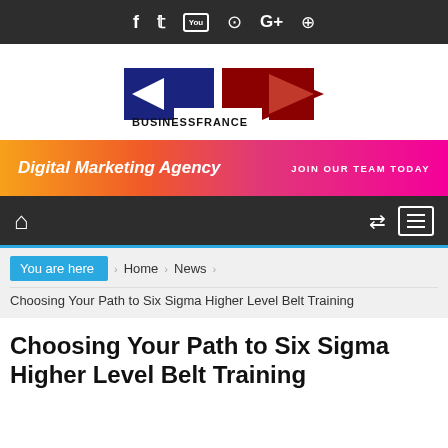f  𝕏  You  ⊙  G+  ⊕
[Figure (logo): Business France logo with blue and red arrow shapes and BUSINESSFRANCE text]
[Figure (infographic): Digital Marketing Agency banner with orange to pink gradient and JOIN OUR TEAM TODAY text]
Home navigation bar with shuffle and menu icons
You are here  Home  News  Choosing Your Path to Six Sigma Higher Level Belt Training
Choosing Your Path to Six Sigma Higher Level Belt Training